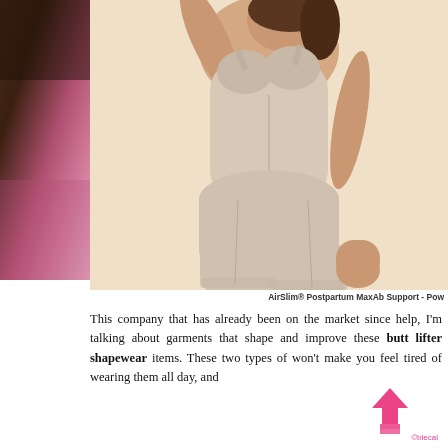[Figure (photo): Left side: blurred photo showing dark and pink tones, partially visible background image]
[Figure (photo): Product photo of a woman wearing AirSlim Postpartum MaxAb Support shapewear bodysuit in beige/nude color on a light peach background]
AirSlim® Postpartum MaxAb Support - Pow
This company that has already been on the market since help, I'm talking about garments that shape and improve these butt lifter shapewear items. These two types of won't make you feel tired of wearing them all day and